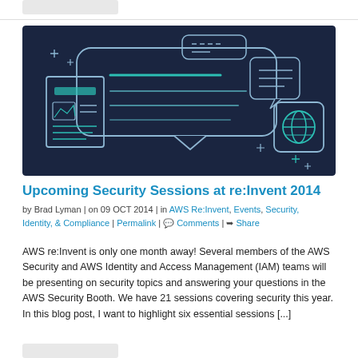[Figure (illustration): Dark navy background illustration showing a speech bubble / chat interface with document icons, teal-colored horizontal lines and a globe icon suggesting digital communication or AWS blog branding]
Upcoming Security Sessions at re:Invent 2014
by Brad Lyman | on 09 OCT 2014 | in AWS Re:Invent, Events, Security, Identity, & Compliance | Permalink | Comments | Share
AWS re:Invent is only one month away! Several members of the AWS Security and AWS Identity and Access Management (IAM) teams will be presenting on security topics and answering your questions in the AWS Security Booth. We have 21 sessions covering security this year. In this blog post, I want to highlight six essential sessions [...]